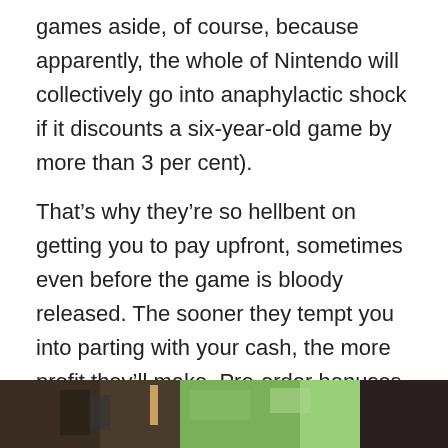games aside, of course, because apparently, the whole of Nintendo will collectively go into anaphylactic shock if it discounts a six-year-old game by more than 3 per cent).
That’s why they’re so hellbent on getting you to pay upfront, sometimes even before the game is bloody released. The sooner they tempt you into parting with your cash, the more profit they’ll make. Pre-order bonuses like DLC, skins, and even early access are all part of that – a calculated, maybe even cynical, way to tempt you into buying the game at top dollar.
[Figure (photo): Partial view of a outdoor/building scene, cropped at the bottom of the page, showing trees and a structure.]